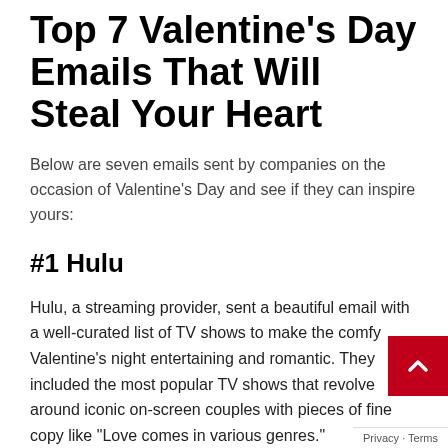Top 7 Valentine's Day Emails That Will Steal Your Heart
Below are seven emails sent by companies on the occasion of Valentine's Day and see if they can inspire yours:
#1 Hulu
Hulu, a streaming provider, sent a beautiful email with a well-curated list of TV shows to make the comfy Valentine's night entertaining and romantic. They included the most popular TV shows that revolve around iconic on-screen couples with pieces of fine copy like “Love comes in various genres.”
It is clean, minimalist, and it brings on the purpose of sending the email almost instantly, thanks to the design language. But what’s really impressive about Hulu’s email is the combination of their iconic storytelling brand and